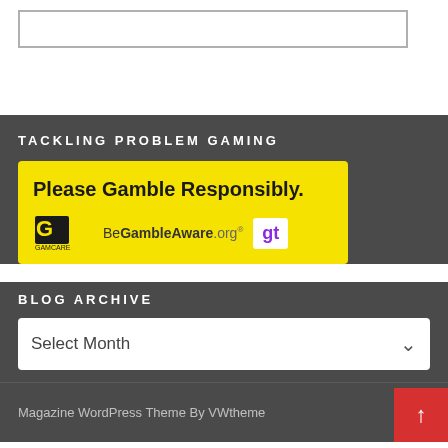[Figure (screenshot): Empty white search/input box with grey border at the top of the page]
TACKLING PROBLEM GAMING
[Figure (logo): Yellow banner with 'Please Gamble Responsibly.' headline, GamCare logo, BeGambleAware.org logo, and 'gt' logo in white box]
BLOG ARCHIVE
[Figure (screenshot): Dropdown select box showing 'Select Month' with a down arrow on white background]
Magazine WordPress Theme By VWtheme